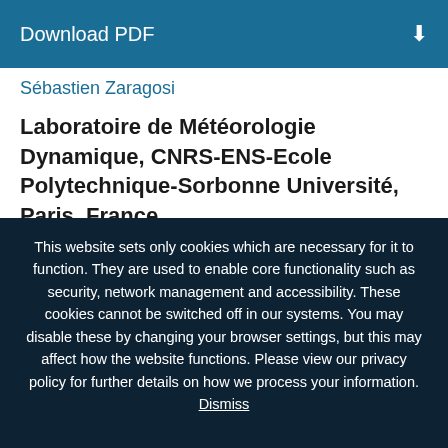Download PDF
Sébastien Zaragosi
Laboratoire de Météorologie Dynamique, CNRS-ENS-Ecole Polytechnique-Sorbonne Université, Paris, France
This website sets only cookies which are necessary for it to function. They are used to enable core functionality such as security, network management and accessibility. These cookies cannot be switched off in our systems. You may disable these by changing your browser settings, but this may affect how the website functions. Please view our privacy policy for further details on how we process your information. Dismiss